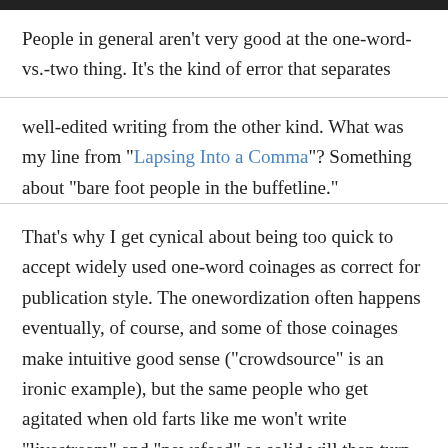People in general aren't very good at the one-word-vs.-two thing. It's the kind of error that separates
well-edited writing from the other kind. What was my line from "Lapsing Into a Comma"? Something about "bare foot people in the buffetline."
That's why I get cynical about being too quick to accept widely used one-word coinages as correct for publication style. The onewordization often happens eventually, of course, and some of those coinages make intuitive good sense ("crowdsource" is an ironic example), but the same people who get agitated when old farts like me won't write "livestream" and "newsfeed" as solid will then turn